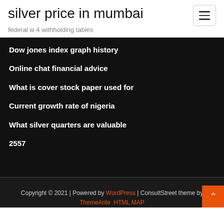silver price in mumbai
federal w 4 withholding tables
Dow jones index graph history
Online chat financial advice
What is cover stock paper used for
Current growth rate of nigeria
What silver quarters are valuable
2557
Copyright © 2021 | Powered by WordPress | ConsultStreet theme by ThemeArile HTML MAP